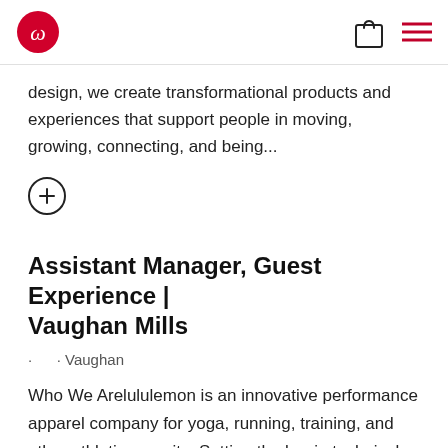lululemon logo, shopping bag icon, menu icon
design, we create transformational products and experiences that support people in moving, growing, connecting, and being...
+ (expand button)
Assistant Manager, Guest Experience | Vaughan Mills
· · Vaughan
Who We Arelululemon is an innovative performance apparel company for yoga, running, training, and other athletic pursuits. Setting the bar in technical fabrics and functional design, we create transformational products and experiences that support people in moving, growing,